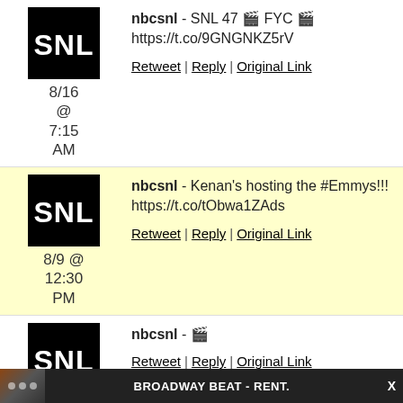nbcsnl - SNL 47 🎬 FYC 🎬 https://t.co/9GNGNKZ5rV
Retweet | Reply | Original Link
8/16 @ 7:15 AM
nbcsnl - Kenan's hosting the #Emmys!!! https://t.co/tObwa1ZAds
Retweet | Reply | Original Link
8/9 @ 12:30 PM
nbcsnl - 🎬
Retweet | Reply | Original Link
8/1 @
BROADWAY BEAT - RENT.